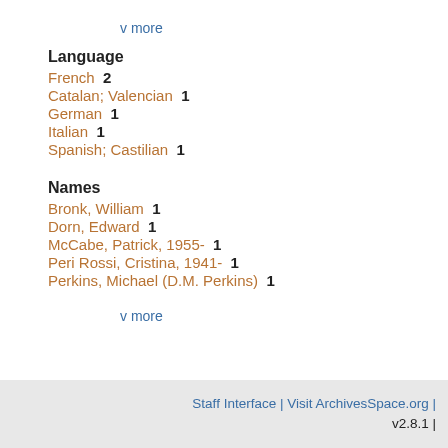v more
Language
French  2
Catalan; Valencian  1
German  1
Italian  1
Spanish; Castilian  1
Names
Bronk, William  1
Dorn, Edward  1
McCabe, Patrick, 1955-  1
Peri Rossi, Cristina, 1941-  1
Perkins, Michael (D.M. Perkins)  1
v more
Staff Interface | Visit ArchivesSpace.org | v2.8.1 |